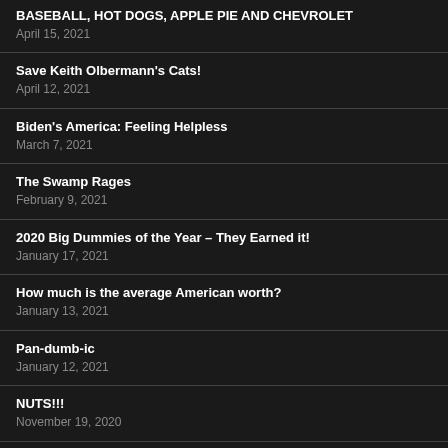BASEBALL, HOT DOGS, APPLE PIE AND CHEVROLET
April 15, 2021
Save Keith Olbermann's Cats!
April 12, 2021
Biden's America: Feeling Helpless
March 7, 2021
The Swamp Rages
February 9, 2021
2020 Big Dummies of the Year – They Earned it!
January 17, 2021
How much is the average American worth?
January 13, 2021
Pan-dumb-ic
January 12, 2021
NUTS!!!
November 19, 2020
Burying our Own